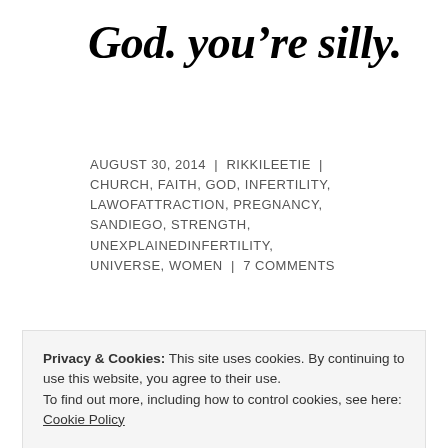God. you're silly.
AUGUST 30, 2014 | RIKKILEETIE | CHURCH, FAITH, GOD, INFERTILITY, LAWOFATTRACTION, PREGNANCY, SANDIEGO, STRENGTH, UNEXPLAINEDINFERTILITY, UNIVERSE, WOMEN | 7 COMMENTS
God must be testing me or just playing jokes on me for a good laugh.
Privacy & Cookies: This site uses cookies. By continuing to use this website, you agree to their use.
To find out more, including how to control cookies, see here: Cookie Policy
go through phases of going to